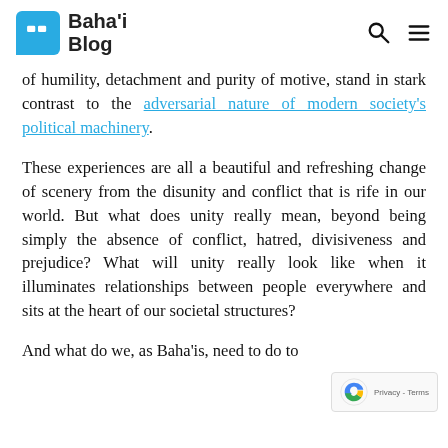Baha'i Blog
of humility, detachment and purity of motive, stand in stark contrast to the adversarial nature of modern society's political machinery.
These experiences are all a beautiful and refreshing change of scenery from the disunity and conflict that is rife in our world. But what does unity really mean, beyond being simply the absence of conflict, hatred, divisiveness and prejudice? What will unity really look like when it illuminates relationships between people everywhere and sits at the heart of our societal structures?
And what do we, as Baha'is, need to do to